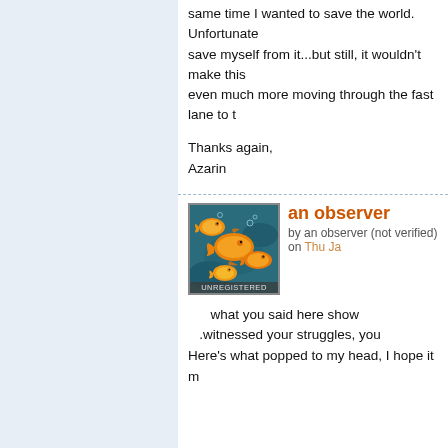same time I wanted to save the world. Unfortunately, I couldn't save myself from it...but still, it wouldn't make this world even much more moving through the fast lane to t
Thanks again,
Azarin
an observer
by an observer (not verified) on Thu Ja
[Figure (illustration): Avatar image of goldfish with UNREGISTERED label at bottom]
what you said here show .witnessed your struggles, you Here's what popped to my head, I hope it m